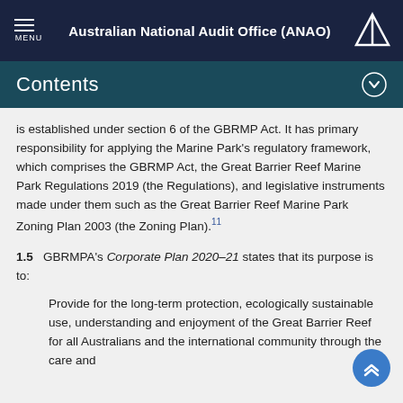Australian National Audit Office (ANAO)
Contents
is established under section 6 of the GBRMP Act. It has primary responsibility for applying the Marine Park's regulatory framework, which comprises the GBRMP Act, the Great Barrier Reef Marine Park Regulations 2019 (the Regulations), and legislative instruments made under them such as the Great Barrier Reef Marine Park Zoning Plan 2003 (the Zoning Plan).¹¹
1.5  GBRMPA's Corporate Plan 2020–21 states that its purpose is to:
Provide for the long-term protection, ecologically sustainable use, understanding and enjoyment of the Great Barrier Reef for all Australians and the international community through the care and